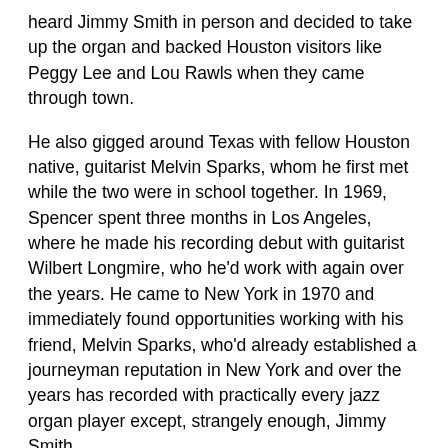heard Jimmy Smith in person and decided to take up the organ and backed Houston visitors like Peggy Lee and Lou Rawls when they came through town.
He also gigged around Texas with fellow Houston native, guitarist Melvin Sparks, whom he first met while the two were in school together. In 1969, Spencer spent three months in Los Angeles, where he made his recording debut with guitarist Wilbert Longmire, who he'd work with again over the years. He came to New York in 1970 and immediately found opportunities working with his friend, Melvin Sparks, who'd already established a journeyman reputation in New York and over the years has recorded with practically every jazz organ player except, strangely enough, Jimmy Smith.
"As a player," wrote Bob Porter in his 1997 notes to Legends of Acid Jazz - Leon Spencer, "Spencer was all Jimmy Smith on top, but his use of organ bass was most unusual. He would use the lower manual much more than most players and develop bass lines that had considerably more than average range. It is fortunate that master engineer Rudy Van Gelder was aboard for these dates because he brings out